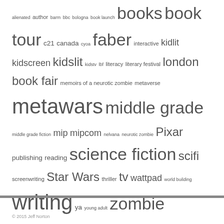alienated author barm bbc bologna book launch books book tour c21 canada cyoa faber interactive kidlit kidscreen kidslit kidstv lbf literacy literary festival london book fair memoirs of a neurotic zombie metaverse metawars middle grade middle grade fiction mip mipcom nelvana neurotic zombie Pixar publishing reading science fiction scifi screenwriting Star Wars thriller tv wattpad world building writing ya young adult zombie
LATEST TWEETS
Tweets by @thejeffnorton
© 2015 Jeff Norton